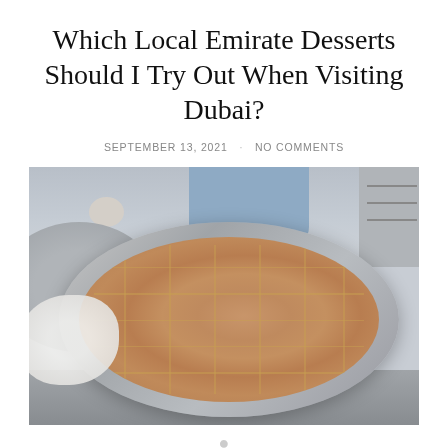Which Local Emirate Desserts Should I Try Out When Visiting Dubai?
SEPTEMBER 13, 2021 · NO COMMENTS
[Figure (photo): A large round metal tray filled with what appears to be kunafa or a similar Middle Eastern dessert with a golden-brown shredded wheat topping scored in a grid pattern. A white creamy substance is visible on the left side. The background shows a kitchen environment with a person in a blue shirt.]